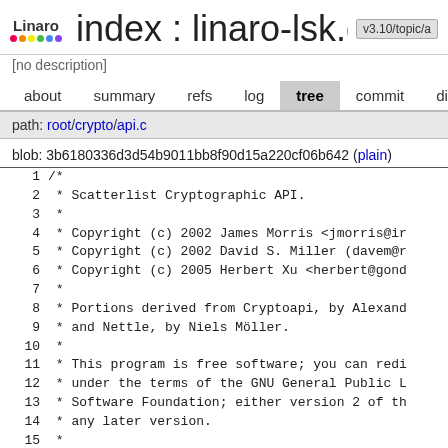index : linaro-lsk.git  v3.10/topic/a
[no description]
about  summary  refs  log  tree  commit  diff
path: root/crypto/api.c
blob: 3b6180336d3d54b9011bb8f90d15a220cf06b642 (plain)
1  /*
2   * Scatterlist Cryptographic API.
3   *
4   * Copyright (c) 2002 James Morris <jmorris@ir
5   * Copyright (c) 2002 David S. Miller (davem@r
6   * Copyright (c) 2005 Herbert Xu <herbert@gond
7   *
8   * Portions derived from Cryptoapi, by Alexand
9   * and Nettle, by Niels Möller.
10  *
11  * This program is free software; you can redi
12  * under the terms of the GNU General Public L
13  * Software Foundation; either version 2 of th
14  * any later version.
15  *
16  */
17